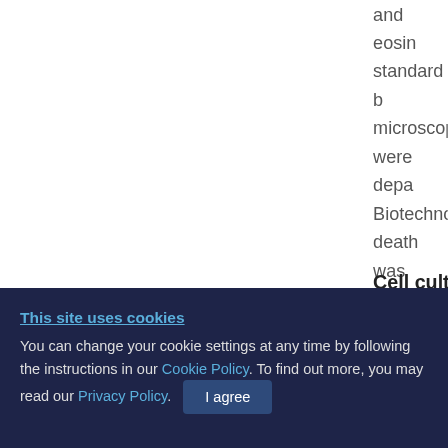and eosin standard b microscop were depa Biotechno death was was used cells were green cell (National
Cell cultu
Human b cultured i
This site uses cookies
You can change your cookie settings at any time by following the instructions in our Cookie Policy. To find out more, you may read our Privacy Policy.